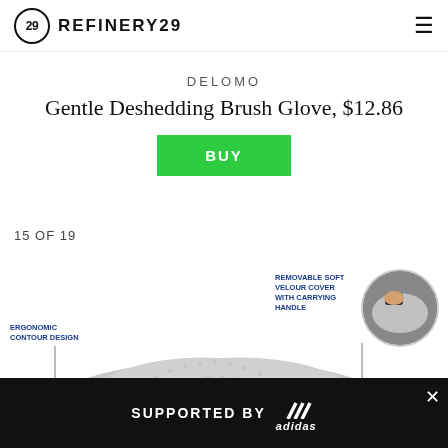REFINERY29
DELOMO
Gentle Deshedding Brush Glove, $12.86
BUY
15 OF 19
[Figure (photo): Product image of a ComfiLife ergonomic pillow with annotations: 'ERGONOMIC CONTOUR DESIGN' on the left and 'REMOVABLE SOFT VELOUR COVER WITH CARRYING HANDLE' on the right with a circular inset photo showing the cover being removed.]
SUPPORTED BY adidas